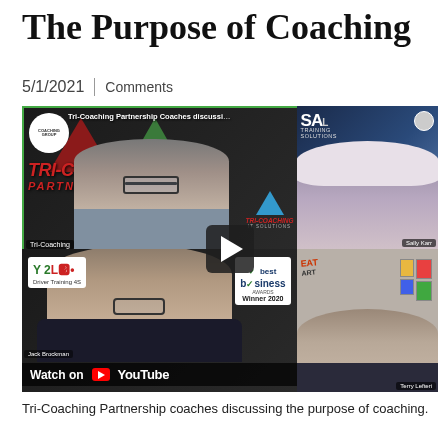The Purpose of Coaching
5/1/2021 | Comments
[Figure (screenshot): YouTube video thumbnail showing Tri-Coaching Partnership coaches discussing the purpose of coaching. Four-panel video call layout: top-left shows a man (Tri-Coaching) in front of Tri-Coaching Partnership branding; top-right shows Sally Karr with SAL Training Solutions logo; bottom-left shows a bald man with Y2Lead and Best Business Awards Winner 2020 logos; bottom-right shows Terry Lefteri in front of artwork wall. A play button overlay and 'Watch on YouTube' banner are visible.]
Tri-Coaching Partnership coaches discussing the purpose of coaching.